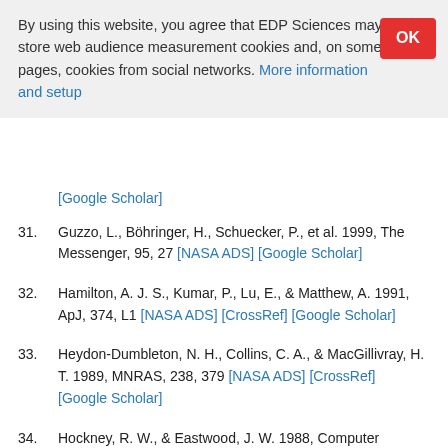By using this website, you agree that EDP Sciences may store web audience measurement cookies and, on some pages, cookies from social networks. More information and setup
31. Guzzo, L., Böhringer, H., Schuecker, P., et al. 1999, The Messenger, 95, 27 [NASA ADS] [Google Scholar]
32. Hamilton, A. J. S., Kumar, P., Lu, E., & Matthew, A. 1991, ApJ, 374, L1 [NASA ADS] [CrossRef] [Google Scholar]
33. Heydon-Dumbleton, N. H., Collins, C. A., & MacGillivray, H. T. 1989, MNRAS, 238, 379 [NASA ADS] [CrossRef] [Google Scholar]
34. Hockney, R. W., & Eastwood, J. W. 1988, Computer Simulations Using Particles (IOP Publishing) [Google Scholar]
35. Hoyle, F., Baugh, C. M., Shanks, T., & Ratcliffe, A. 1999, preprint [astro-ph/9812137] [Google Scholar]
36. Jing, Y. P., & Valdarnini, R. 1993, ApJ, 406, 6 [NASA ADS]